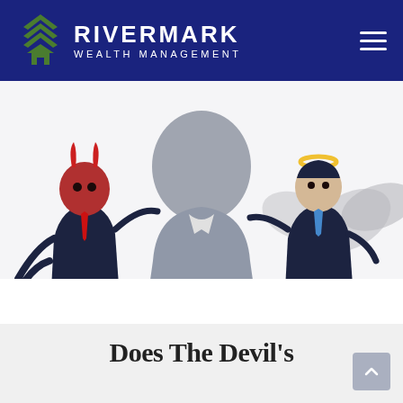RIVERMARK WEALTH MANAGEMENT
[Figure (illustration): Cartoon illustration showing a grey faceless businessman in the center, flanked by a devil character in a suit on the left (red horns, red tail, red tie, holding a pitchfork) and an angel character in a suit on the right (halo, white wings), both appearing to whisper advice into the central figure's ears.]
Does The Devil's